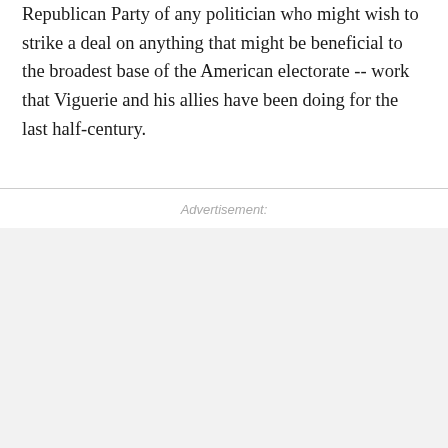Republican Party of any politician who might wish to strike a deal on anything that might be beneficial to the broadest base of the American electorate -- work that Viguerie and his allies have been doing for the last half-century.
Advertisement: